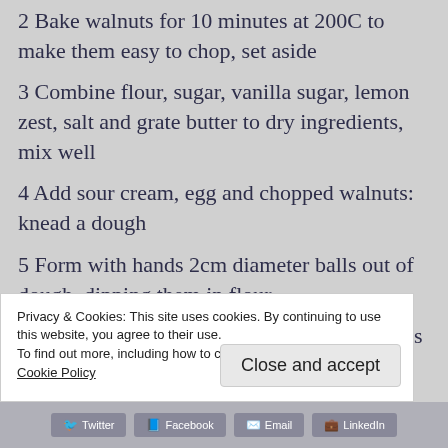2 Bake walnuts for 10 minutes at 200C to make them easy to chop, set aside
3 Combine flour, sugar, vanilla sugar, lemon zest, salt and grate butter to dry ingredients, mix well
4 Add sour cream, egg and chopped walnuts: knead a dough
5 Form with hands 2cm diameter balls out of dough, dipping them in flour
6 Bake the cookies at 190C for 25-30 minutes
7 Enjoy the cookies with Christmas fruits punch
Privacy & Cookies: This site uses cookies. By continuing to use this website, you agree to their use.
To find out more, including how to control cookies, see here: Cookie Policy
Close and accept